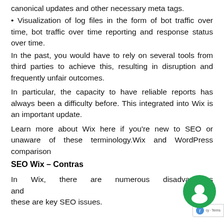canonical updates and other necessary meta tags.
• Visualization of log files in the form of bot traffic over time, bot traffic over time reporting and response status over time.
In the past, you would have to rely on several tools from third parties to achieve this, resulting in disruption and frequently unfair outcomes.
In particular, the capacity to have reliable reports has always been a difficulty before. This integrated into Wix is an important update.
Learn more about Wix here if you're new to SEO or unaware of these terminology.Wix and WordPress comparison
SEO Wix – Contras
In Wix, there are numerous disadvantages and these are key SEO issues.